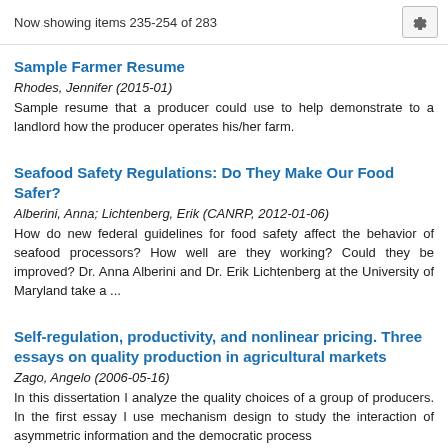Now showing items 235-254 of 283
Sample Farmer Resume
Rhodes, Jennifer (2015-01)
Sample resume that a producer could use to help demonstrate to a landlord how the producer operates his/her farm.
Seafood Safety Regulations: Do They Make Our Food Safer?
Alberini, Anna; Lichtenberg, Erik (CANRP, 2012-01-06)
How do new federal guidelines for food safety affect the behavior of seafood processors? How well are they working? Could they be improved? Dr. Anna Alberini and Dr. Erik Lichtenberg at the University of Maryland take a ...
Self-regulation, productivity, and nonlinear pricing. Three essays on quality production in agricultural markets
Zago, Angelo (2006-05-16)
In this dissertation I analyze the quality choices of a group of producers. In the first essay I use mechanism design to study the interaction of asymmetric information and the democratic process